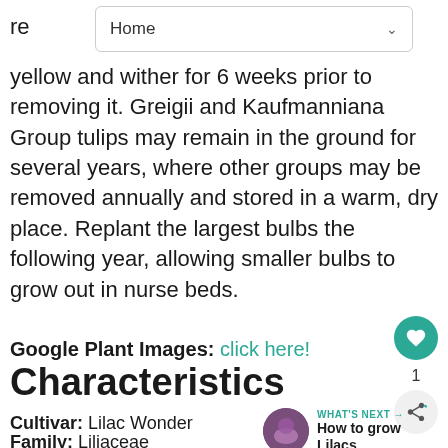Home
yellow and wither for 6 weeks prior to removing it. Greigii and Kaufmanniana Group tulips may remain in the ground for several years, where other groups may be removed annually and stored in a warm, dry place. Replant the largest bulbs the following year, allowing smaller bulbs to grow out in nurse beds.
Google Plant Images: click here!
Characteristics
Cultivar: Lilac Wonder
Family: Liliaceae
Size: Height: 0 ft. to 0 ft.